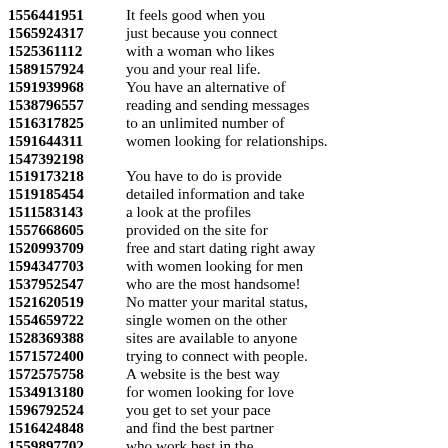1556441951 It feels good when you
1565924317 just because you connect
1525361112 with a woman who likes
1589157924 you and your real life.
1591939968 You have an alternative of
1538796557 reading and sending messages
1516317825 to an unlimited number of
1591644311 women looking for relationships.
1547392198
1519173218 You have to do is provide
1519185454 detailed information and take
1511583143 a look at the profiles
1557668605 provided on the site for
1520993709 free and start dating right away
1594347703 with women looking for men
1537952547 who are the most handsome!
1521620519 No matter your marital status,
1554659722 single women on the other
1528369388 sites are available to anyone
1571572400 trying to connect with people.
1572575758 A website is the best way
1534913180 for women looking for love
1596792524 you get to set your pace
1516424848 and find the best partner
1559897702 who work best in the